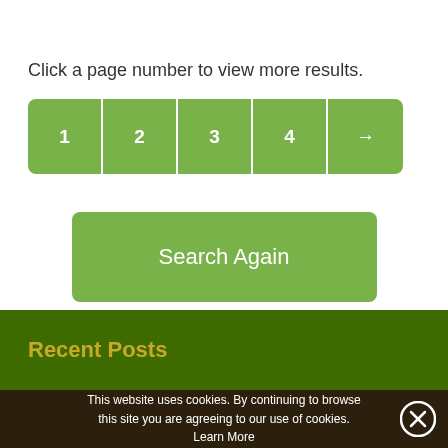Click a page number to view more results.
[Figure (other): Pagination buttons showing pages 1, 2, 3, 4, and a next arrow, styled as green rounded button group]
[Figure (other): Green 'Search Again' button]
Recent Posts
This website uses cookies. By continuing to browse this site you are agreeing to our use of cookies. Learn More